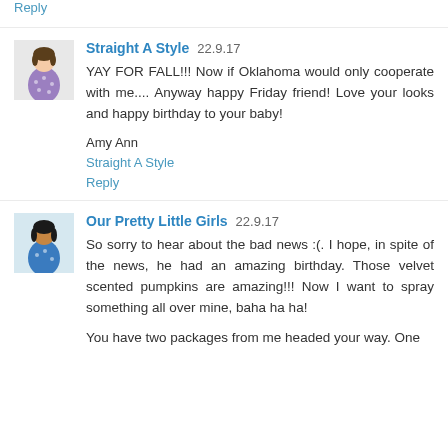Reply
Straight A Style 22.9.17
YAY FOR FALL!!! Now if Oklahoma would only cooperate with me.... Anyway happy Friday friend! Love your looks and happy birthday to your baby!

Amy Ann
Straight A Style

Reply
Our Pretty Little Girls 22.9.17
So sorry to hear about the bad news :(. I hope, in spite of the news, he had an amazing birthday. Those velvet scented pumpkins are amazing!!! Now I want to spray something all over mine, baha ha ha!

You have two packages from me headed your way. One